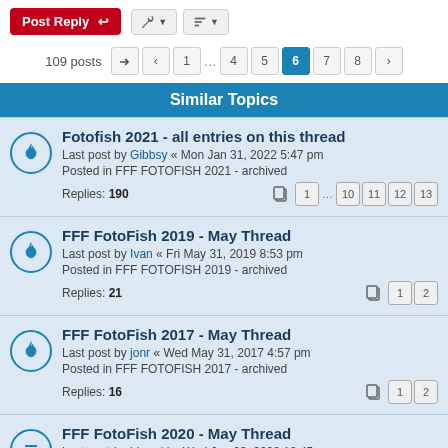Post Reply | Tools | Sort
109 posts  1 ... 4 5 6 7 8
Similar Topics
Fotofish 2021 - all entries on this thread
Last post by Gibbsy « Mon Jan 31, 2022 5:47 pm
Posted in FFF FOTOFISH 2021 - archived
Replies: 190
Pages: 1 ... 10 11 12 13
FFF FotoFish 2019 - May Thread
Last post by Ivan « Fri May 31, 2019 8:53 pm
Posted in FFF FOTOFISH 2019 - archived
Replies: 21
Pages: 1 2
FFF FotoFish 2017 - May Thread
Last post by jonr « Wed May 31, 2017 4:57 pm
Posted in FFF FOTOFISH 2017 - archived
Replies: 16
Pages: 1 2
FFF FotoFish 2020 - May Thread
Last post by blowski « Wed Jun 03, 2020 10:45 am
Posted in FFF FOTOFISH 2020 - archived
Replies: 5